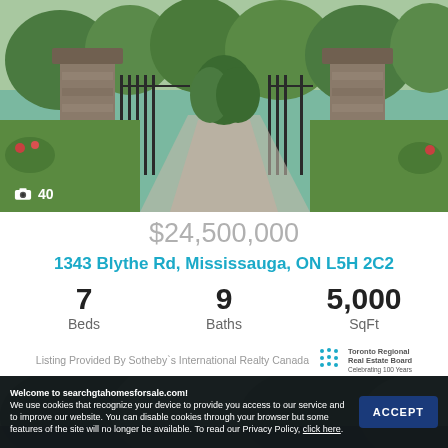[Figure (photo): Iron gate entrance with stone pillars, paved driveway, and lush greenery in background]
📷 40
$24,500,000
1343 Blythe Rd, Mississauga, ON L5H 2C2
7 Beds   9 Baths   5,000 SqFt
Listing Provided By Sotheby's International Realty Canada
[Figure (photo): Aerial/exterior view of property with trees and greenery]
Welcome to searchgtahomesforsale.com!
We use cookies that recognize your device to provide you access to our service and to improve our website. You can disable cookies through your browser but some features of the site will no longer be available. To read our Privacy Policy, click here.